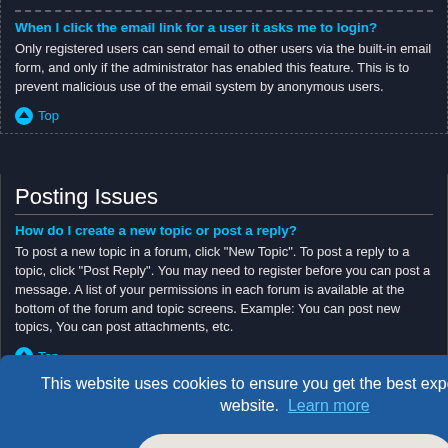When I click the email link for a user it asks me to login?
Only registered users can send email to other users via the built-in email form, and only if the administrator has enabled this feature. This is to prevent malicious use of the email system by anonymous users.
Top
Posting Issues
How do I create a new topic or post a reply?
To post a new topic in a forum, click "New Topic". To post a reply to a topic, click "Post Reply". You may need to register before you can post a message. A list of your permissions in each forum is available at the bottom of the forum and topic screens. Example: You can post new topics, You can post attachments, etc.
Top
or delete relevant meone has ow the edited it de a reply; it will not appear if a moderator or administrator edited the post, though
This website uses cookies to ensure you get the best experience on our website. Learn more
Got it!